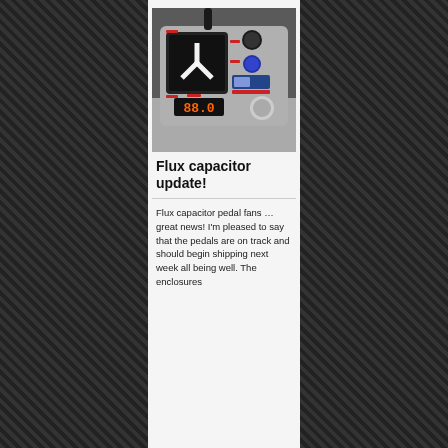[Figure (photo): A guitar effects pedal styled as a 'flux capacitor' device. The metal enclosure features a screen displaying a glowing Y-shaped flux capacitor symbol, multiple knobs (black and blue), a blue illuminated VU meter, a large footswitch, and a 7-segment LED display showing '88.0'. A cable is plugged into the top.]
Flux capacitor update!
Flux capacitor pedal fans … great news! I'm pleased to say that the pedals are on track and should begin shipping next week all being well. The enclosures